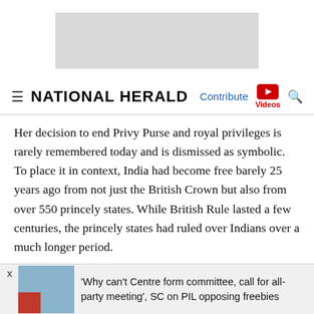[Figure (other): Advertisement banner placeholder (gray rectangle)]
NATIONAL HERALD — navigation bar with Contribute, Videos, Search
Her decision to end Privy Purse and royal privileges is rarely remembered today and is dismissed as symbolic. To place it in context, India had become free barely 25 years ago from not just the British Crown but also from over 550 princely states. While British Rule lasted a few centuries, the princely states had ruled over Indians over a much longer period.
Not surprisingly, even after all these years one continues to hear erstwhile princes being addressed as 'Hukum' or
'Why can't Centre form committee, call for all-party meeting', SC on PIL opposing freebies